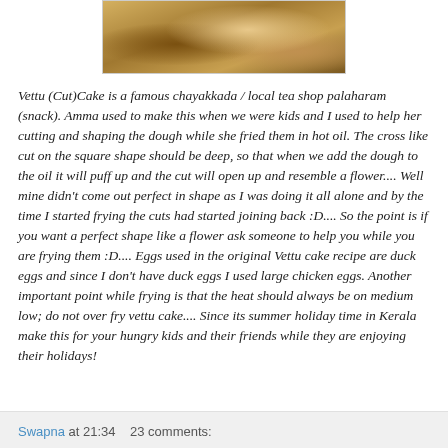[Figure (photo): Partial photo of food items (baked/fried snacks) on a surface, cropped at top]
Vettu (Cut)Cake is a famous chayakkada / local tea shop palaharam (snack). Amma used to make this when we were kids and I used to help her cutting and shaping the dough while she fried them in hot oil. The cross like cut on the square shape should be deep, so that when we add the dough to the oil it will puff up and the cut will open up and resemble a flower.... Well mine didn't come out perfect in shape as I was doing it all alone and by the time I started frying the cuts had started joining back :D.... So the point is if you want a perfect shape like a flower ask someone to help you while you are frying them :D.... Eggs used in the original Vettu cake recipe are duck eggs and since I don't have duck eggs I used large chicken eggs. Another important point while frying is that the heat should always be on medium low; do not over fry vettu cake.... Since its summer holiday time in Kerala make this for your hungry kids and their friends while they are enjoying their holidays!
Swapna at 21:34    23 comments: